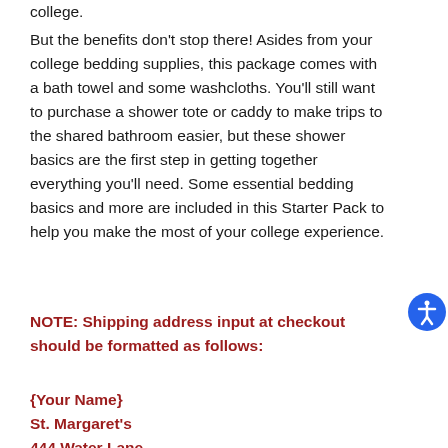college.
But the benefits don't stop there! Asides from your college bedding supplies, this package comes with a bath towel and some washcloths. You'll still want to purchase a shower tote or caddy to make trips to the shared bathroom easier, but these shower basics are the first step in getting together everything you'll need. Some essential bedding basics and more are included in this Starter Pack to help you make the most of your college experience.
NOTE: Shipping address input at checkout should be formatted as follows:
{Your Name}
St. Margaret's
444 Water Lane